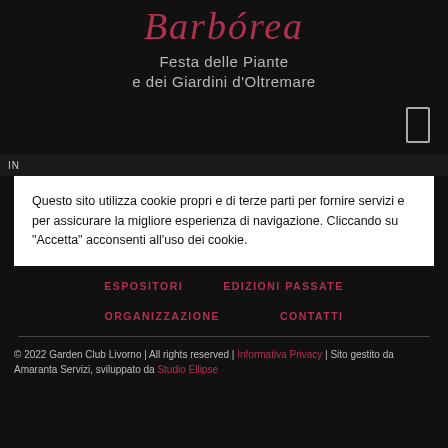Barbórea
Festa delle Piante e dei Giardini d'Oltremare
Questo sito utilizza cookie propri e di terze parti per fornire servizi e per assicurare la migliore esperienza di navigazione. Cliccando su "Accetta" acconsenti all'uso dei cookie.
ESPOSITORI
EDIZIONI PASSATE
ORGANIZZAZIONE
CONTATTI
© 2022 Garden Club Livorno | All rights reserved | Informativa Privacy | Sito gestito da Amaranta Servizi, sviluppato da Studio Ellipse